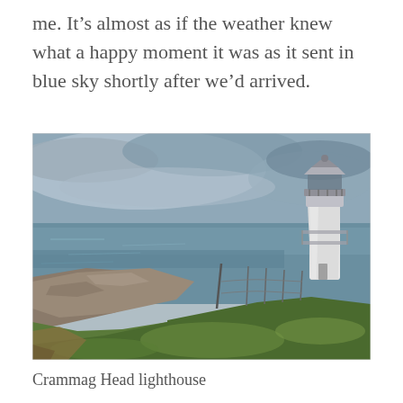me. It's almost as if the weather knew what a happy moment it was as it sent in blue sky shortly after we'd arrived.
[Figure (photo): A coastal clifftop scene showing a white lighthouse tower on the right side of the image, situated on a grassy headland. Rocky outcrops and rough grassland dominate the foreground, with the grey-blue sea visible on the left and a cloudy overcast sky above.]
Crammag Head lighthouse